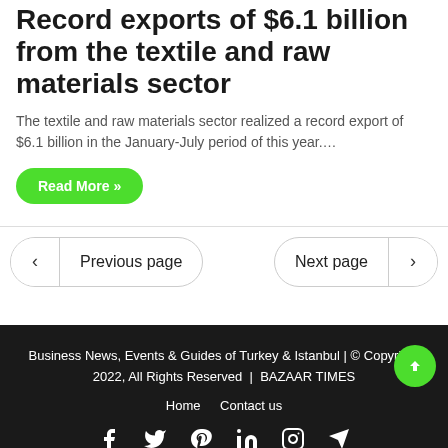Record exports of $6.1 billion from the textile and raw materials sector
The textile and raw materials sector realized a record export of $6.1 billion in the January-July period of this year....
Read More »
Previous page
Next page
Business News, Events & Guides of Turkey & Istanbul | © Copyright 2022, All Rights Reserved  |  BAZAAR TIMES
Home  Contact us